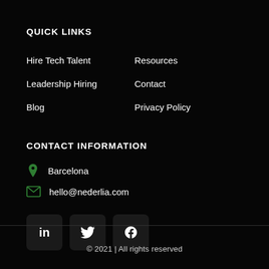QUICK LINKS
Hire Tech Talent
Resources
Leadership Hiring
Contact
Blog
Privacy Policy
CONTACT INFORMATION
Barcelona
hello@nederlia.com
[Figure (other): Social media icon buttons: LinkedIn, Twitter, Facebook]
© 2021 | All rights reserved